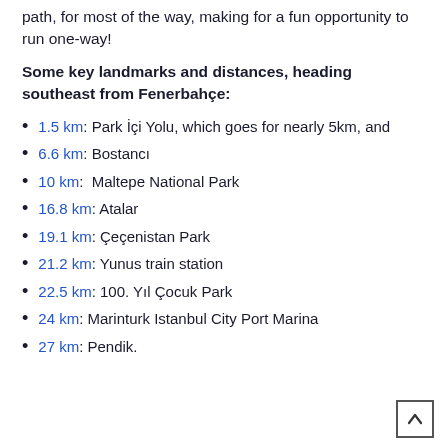path, for most of the way, making for a fun opportunity to run one-way!
Some key landmarks and distances, heading southeast from Fenerbahçe:
1.5 km: Park İçi Yolu, which goes for nearly 5km, and
6.6 km: Bostancı
10 km:  Maltepe National Park
16.8 km: Atalar
19.1 km: Çeçenistan Park
21.2 km: Yunus train station
22.5 km: 100. Yıl Çocuk Park
24 km: Marinturk Istanbul City Port Marina
27 km: Pendik.